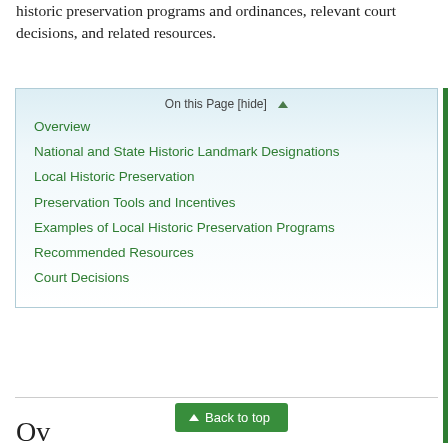historic preservation programs and ordinances, relevant court decisions, and related resources.
On this Page [hide]
Overview
National and State Historic Landmark Designations
Local Historic Preservation
Preservation Tools and Incentives
Examples of Local Historic Preservation Programs
Recommended Resources
Court Decisions
Back to top
Ov